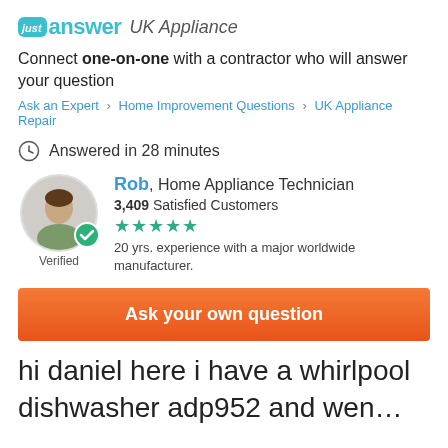[Figure (logo): JustAnswer UK Appliance logo with teal background badge saying 'just' and teal bold text 'answer' followed by italic 'UK Appliance']
Connect one-on-one with a contractor who will answer your question
Ask an Expert > Home Improvement Questions > UK Appliance Repair
Answered in 28 minutes
[Figure (photo): Profile photo of Rob, Home Appliance Technician, circular avatar with green verified checkmark badge, labeled Verified]
Rob, Home Appliance Technician
3,409 Satisfied Customers
★★★★★
20 yrs. experience with a major worldwide manufacturer.
Ask your own question
hi daniel here i have a whirlpool dishwasher adp952 and wen…